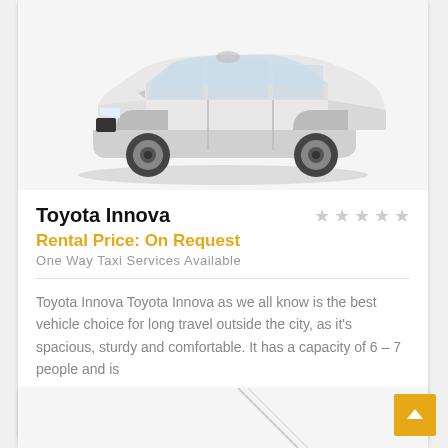[Figure (photo): White Toyota Innova SUV/MPV vehicle shown from front-side angle on white background]
Toyota Innova
Rental Price: On Request
One Way Taxi Services Available
Toyota Innova Toyota Innova as we all know is the best vehicle choice for long travel outside the city, as it's spacious, sturdy and comfortable. It has a capacity of 6 – 7 people and is
2017  Diesel  Auto  20  BOOK NOW
[Figure (photo): Partial view of another vehicle card below]